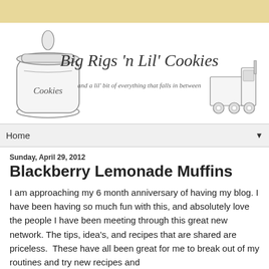[Figure (illustration): Blog header banner with cookie jar illustration on the left, 'Big Rigs n Lil Cookies' in cursive script in the center with tagline 'and a lil bit of everything that falls in between', and a semi-truck illustration on the right. Yellow/tan background at top.]
Home ▼
Sunday, April 29, 2012
Blackberry Lemonade Muffins
I am approaching my 6 month anniversary of having my blog. I have been having so much fun with this, and absolutely love the people I have been meeting through this great new network. The tips, idea's, and recipes that are shared are priceless.  These have all been great for me to break out of my routines and try new recipes and